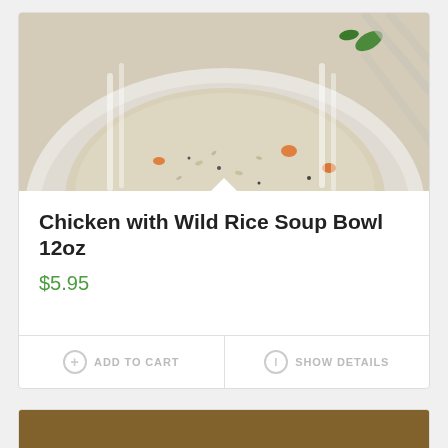[Figure (photo): Close-up photo of a white bowl filled with creamy chicken and wild rice soup, showing rice grains, orange carrot pieces, and green herbs in a creamy broth]
Chicken with Wild Rice Soup Bowl 12oz
$5.95
+ ADD TO CART
i SHOW DETAILS
[Figure (photo): Close-up photo of a white bowl filled with a golden/yellow creamy soup garnished with green onions and what appears to be a corn or cheese bisque, with a spoon visible at left]